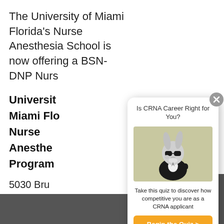The University of Miami Florida's Nurse Anesthesia School is now offering a BSN-DNP Nurs
University of Miami Florida Nurse Anesthesia Program
5030 Bru Drive Coral
[Figure (screenshot): Popup modal with title 'Is CRNA Career Right for You?', an illustration of Bugs Bunny in a suit with sunglasses on a tan/olive background, descriptive text 'Take this quiz to discover how competitive you are as a CRNA applicant', and an orange 'Begin the Quiz >' button. A gray circular close button (X) is in the top-right corner.]